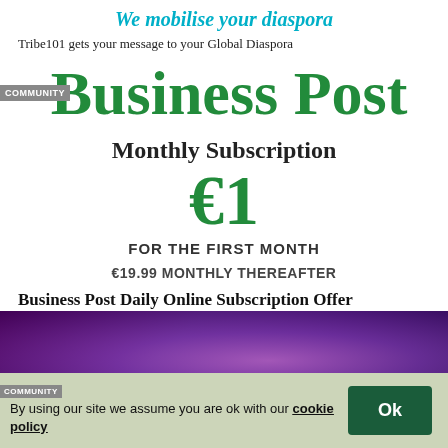We mobilise your diaspora
Tribe101 gets your message to your Global Diaspora
[Figure (logo): Business Post logo with green bold text and COMMUNITY badge overlay]
Monthly Subscription
€1
FOR THE FIRST MONTH
€19.99 MONTHLY THEREAFTER
Business Post Daily Online Subscription Offer
[Figure (photo): Colorful purple/magenta photo strip at bottom]
By using our site we assume you are ok with our cookie policy